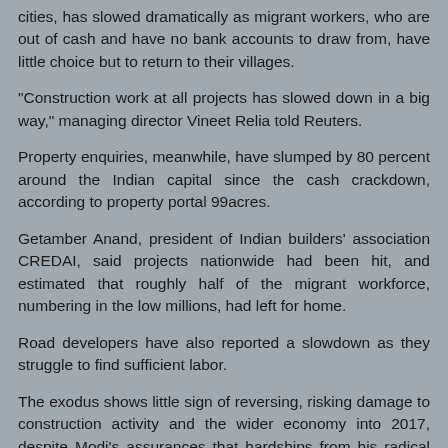cities, has slowed dramatically as migrant workers, who are out of cash and have no bank accounts to draw from, have little choice but to return to their villages.
"Construction work at all projects has slowed down in a big way," managing director Vineet Relia told Reuters.
Property enquiries, meanwhile, have slumped by 80 percent around the Indian capital since the cash crackdown, according to property portal 99acres.
Getamber Anand, president of Indian builders' association CREDAI, said projects nationwide had been hit, and estimated that roughly half of the migrant workforce, numbering in the low millions, had left for home.
Road developers have also reported a slowdown as they struggle to find sufficient labor.
The exodus shows little sign of reversing, risking damage to construction activity and the wider economy into 2017, despite Modi's assurances that hardships from his radical "demonetization" should be over by the end of the year.